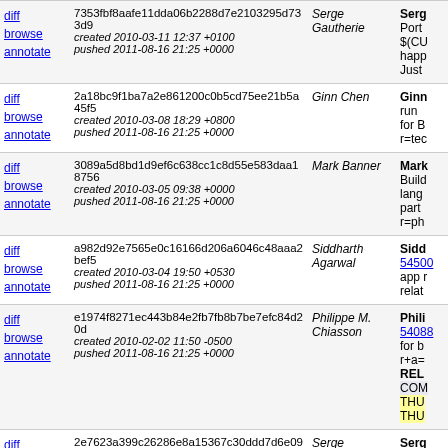|  | Hash / Dates | Author | Description |
| --- | --- | --- | --- |
| diff browse annotate | 7353fbf8aafe11dda06b2288d7e2103295d733d9
created 2010-03-11 12:37 +0100
pushed 2011-08-16 21:25 +0000 | Serge Gautherie | Serg Port $(CU happ Just |
| diff browse annotate | 2a18bc9f1ba7a2e861200c0b5cd75ee21b5a45f5
created 2010-03-08 18:29 +0800
pushed 2011-08-16 21:25 +0000 | Ginn Chen | Ginn run for B r=tec |
| diff browse annotate | 3089a5d8bd1d9ef6c638cc1c8d55e583daa18756
created 2010-03-05 09:38 +0000
pushed 2011-08-16 21:25 +0000 | Mark Banner | Mark Build lang part r=ph |
| diff browse annotate | a982d92e7565e0c16166d206a6046c48aaa2bef5
created 2010-03-04 19:50 +0530
pushed 2011-08-16 21:25 +0000 | Siddharth Agarwal | Sidd 54500 app r relat |
| diff browse annotate | e1974f8271ec443b84e2fb7fb8b7be7efc84d20d
created 2010-02-02 11:50 -0500
pushed 2011-08-16 21:25 +0000 | Philippe M. Chiasson | Phili 54088 for b r+a= REL COM THU THU |
| diff browse annotate | 2e7623a399c26286e8a15367c30ddd7d6e0982ae
created 2010-02-22 01:00 +0100
pushed 2011-08-16 21:25 +0000 | Serge Gautherie | Serg fenn win3 |